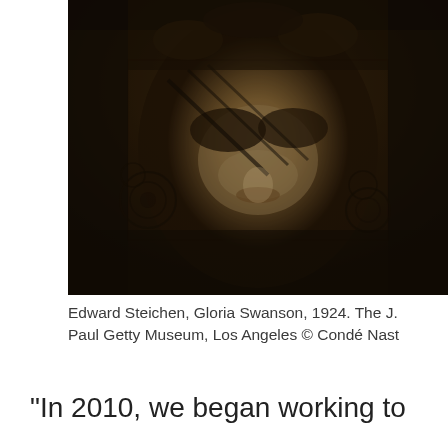[Figure (photo): Sepia-toned photograph by Edward Steichen of Gloria Swanson, 1924. Close-up portrait of a woman's face covered by an ornate black lace veil with floral patterns. The image has a dark, dramatic quality with sepia tones.]
Edward Steichen, Gloria Swanson, 1924. The J. Paul Getty Museum, Los Angeles © Condé Nast
“In 2010, we began working to